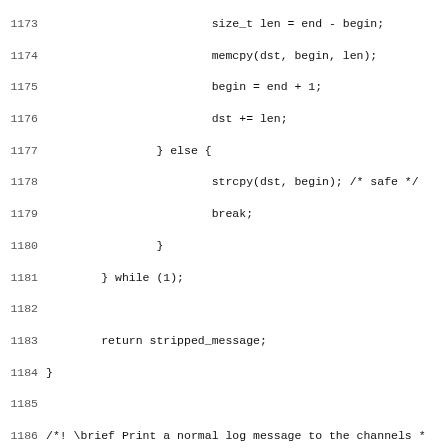[Figure (screenshot): Source code listing in C (lines 1173-1204+), showing a do-while loop with string operations, a closing brace and return statement, then a Doxygen comment and function definition for logger_print_normal with variable declarations and a verbose log level check.]